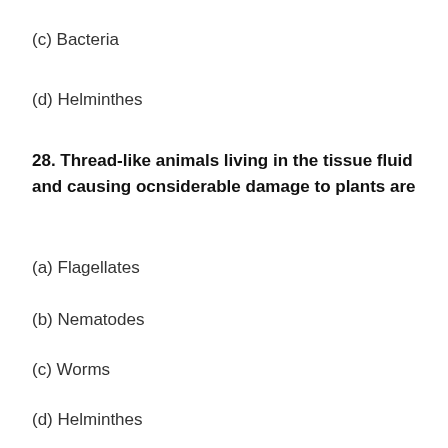(c) Bacteria
(d) Helminthes
28. Thread-like animals living in the tissue fluid and causing ocnsiderable damage to plants are
(a) Flagellates
(b) Nematodes
(c) Worms
(d) Helminthes
29. Ancylostoma, Enterobius and Ascaris are members of phylum